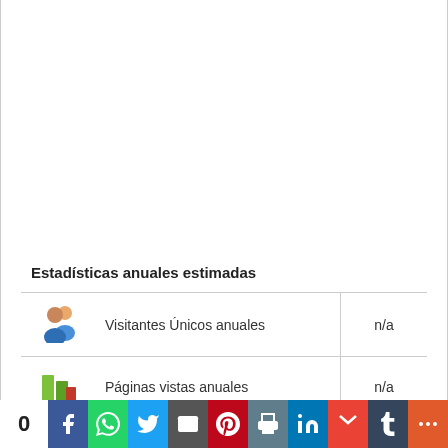Estadísticas anuales estimadas
|  | Métrica | Valor |
| --- | --- | --- |
| [icon: visitantes] | Visitantes Únicos anuales | n/a |
| [icon: páginas] | Páginas vistas anuales | n/a |
| [icon: renta] | Renta de Anuncios anuales | n/a |
0 | Facebook | WhatsApp | Twitter | Email | Pinterest | Print | LinkedIn | Gmail | Tumblr | More